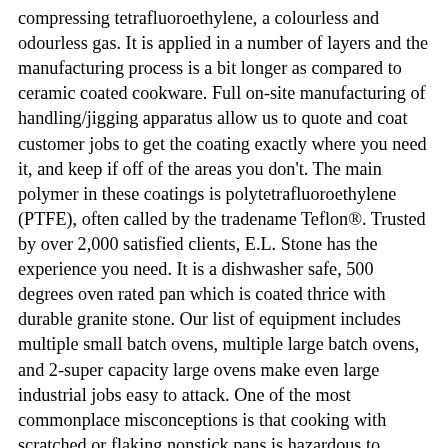compressing tetrafluoroethylene, a colourless and odourless gas. It is applied in a number of layers and the manufacturing process is a bit longer as compared to ceramic coated cookware. Full on-site manufacturing of handling/jigging apparatus allow us to quote and coat customer jobs to get the coating exactly where you need it, and keep if off of the areas you don't. The main polymer in these coatings is polytetrafluoroethylene (PTFE), often called by the tradename Teflon®. Trusted by over 2,000 satisfied clients, E.L. Stone has the experience you need. It is a dishwasher safe, 500 degrees oven rated pan which is coated thrice with durable granite stone. Our list of equipment includes multiple small batch ovens, multiple large batch ovens, and 2-super capacity large ovens make even large industrial jobs easy to attack. One of the most commonplace misconceptions is that cooking with scratched or flaking nonstick pans is hazardous to people's health. Ensuring you are happy with the finished product is our #1 concern. TECHEF - Infinity Collection/Frying Pan, Coated 4 times with the new Teflon Stone Coating with Ceramic Particles (PFOA Free) (8") Visit the TECHEF Store. This coating is primarily responsible for its superior cooking factor and non-sticky cooking. The idea was successful and a French patent was granted for the process in 1954. Is it worth having teflon coating to protect us from hurt? Fundamentals. The properties of Teflon™ products make them the preferred solution for a host of industrial and consumer applications, as well as diverse processing techniques. A few years later, a French engineer had begun coating his fishing gear with